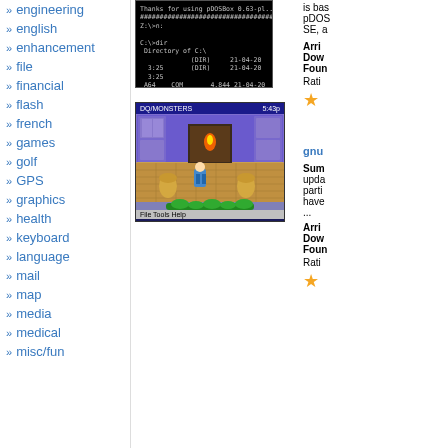engineering
english
enhancement
file
financial
flash
french
games
golf
GPS
graphics
health
keyboard
language
mail
map
media
medical
misc/fun
[Figure (screenshot): DOS/command prompt screenshot showing pDOSBox directory listing on black background]
[Figure (screenshot): GBA game screenshot showing DQ/MONSTERS game with 5:43p time, RPG town scene with character sprites]
is bas pDOS SE, a
Arri Dow Foun
Rati
gnu Sum upda parti have ...
Arri Dow Foun
Rati